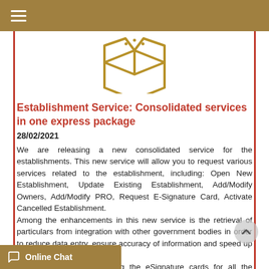≡
[Figure (illustration): Gold outline icon of an open cardboard box / package]
Establishment Service: Consolidated services in one express package
28/02/2021
We are releasing a new consolidated service for the establishments. This new service will allow you to request various services related to the establishment, including: Open New Establishment, Update Existing Establishment, Add/Modify Owners, Add/Modify PRO, Request E-Signature Card, Activate Cancelled Establishment.
Among the enhancements in this new service is the retrieval of particulars from integration with other government bodies in order to reduce data entry, ensure accuracy of information and speed up processing.
This service requires having the eSignature cards for all the authorized signatories. Also, it requires the service applicant to the establishment, ie an owner, authorized PRO. Otherwise, the service cannot be applied